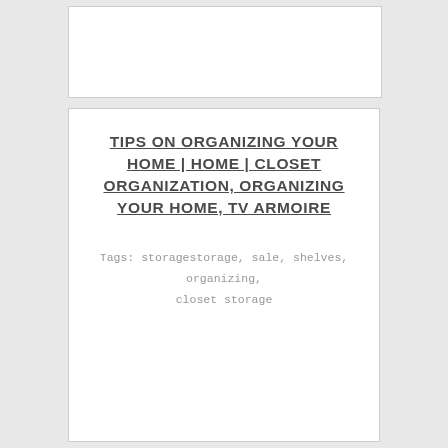[Figure (other): Small white card/box at top of page, mostly blank]
TIPS ON ORGANIZING YOUR HOME | HOME | CLOSET ORGANIZATION, ORGANIZING YOUR HOME, TV ARMOIRE
Tags: storagestorage, sale, shelves, organizing, closet storage